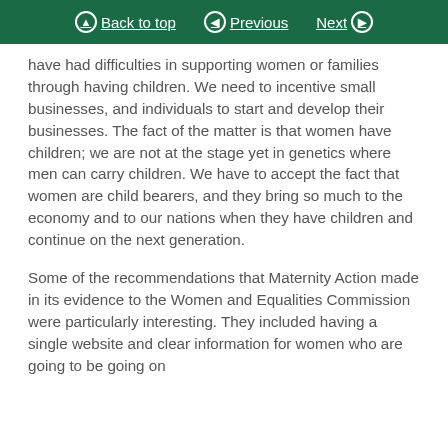Back to top | Previous | Next
have had difficulties in supporting women or families through having children. We need to incentive small businesses, and individuals to start and develop their businesses. The fact of the matter is that women have children; we are not at the stage yet in genetics where men can carry children. We have to accept the fact that women are child bearers, and they bring so much to the economy and to our nations when they have children and continue on the next generation.
Some of the recommendations that Maternity Action made in its evidence to the Women and Equalities Commission were particularly interesting. They included having a single website and clear information for women who are going to be going on